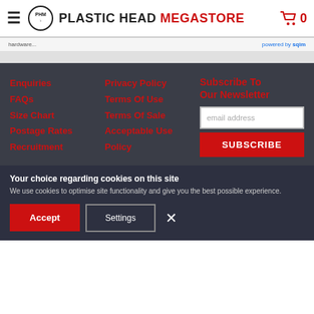Plastic Head Megastore
Enquiries
FAQs
Size Chart
Postage Rates
Recruitment
Privacy Policy
Terms Of Use
Terms Of Sale
Acceptable Use Policy
Subscribe To Our Newsletter
Your choice regarding cookies on this site
We use cookies to optimise site functionality and give you the best possible experience.